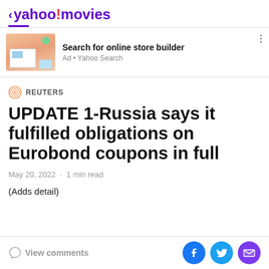< yahoo!movies
[Figure (screenshot): Advertisement for online store builder showing computer and tablet devices on a desk background. Text: Search for online store builder. Ad • Yahoo Search]
REUTERS
UPDATE 1-Russia says it fulfilled obligations on Eurobond coupons in full
May 20, 2022 · 1 min read
(Adds detail)
View comments